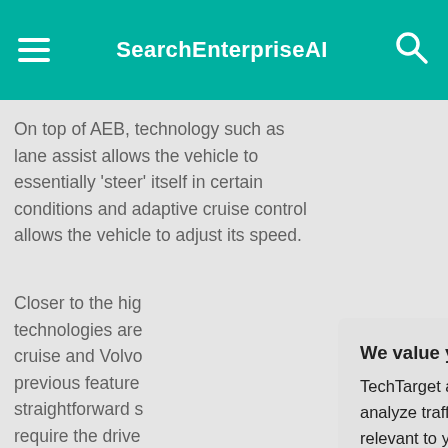SearchEnterpriseAI
On top of AEB, technology such as lane assist allows the vehicle to essentially 'steer' itself in certain conditions and adaptive cruise control allows the vehicle to adjust its speed.
Closer to the high... technologies are... cruise and Volvo... previous feature... straightforward s... require the drive... engage in certai...
"If you are not pa... system is doing,... get into trouble,"...
[Figure (screenshot): Privacy consent modal dialog with title 'We value your privacy.' and text from TechTarget about cookies. Contains a link 'manage your settings' and 'Privacy Policy', with OK and Settings buttons. A close X button is in the top-right corner.]